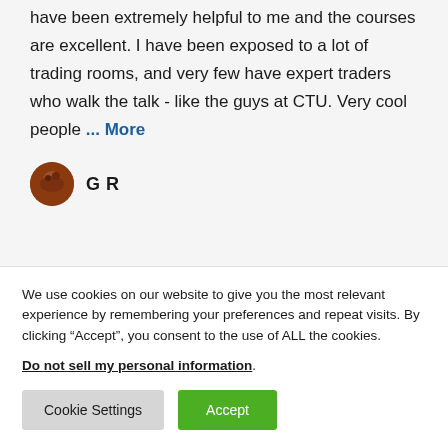have been extremely helpful to me and the courses are excellent. I have been exposed to a lot of trading rooms, and very few have expert traders who walk the talk - like the guys at CTU. Very cool people ... More
G R
We use cookies on our website to give you the most relevant experience by remembering your preferences and repeat visits. By clicking “Accept”, you consent to the use of ALL the cookies.
Do not sell my personal information.